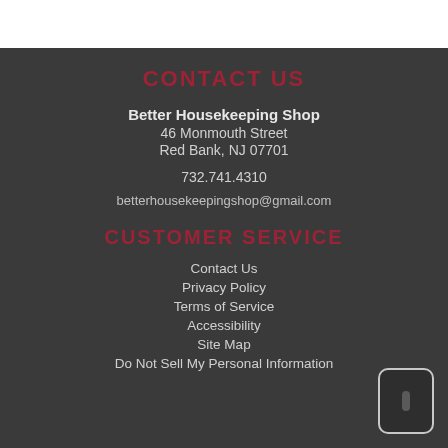CONTACT US
Better Housekeeping Shop
46 Monmouth Street
Red Bank, NJ 07701
732.741.4310
betterhousekeepingshop@gmail.com
CUSTOMER SERVICE
Contact Us
Privacy Policy
Terms of Service
Accessibility
Site Map
Do Not Sell My Personal Information